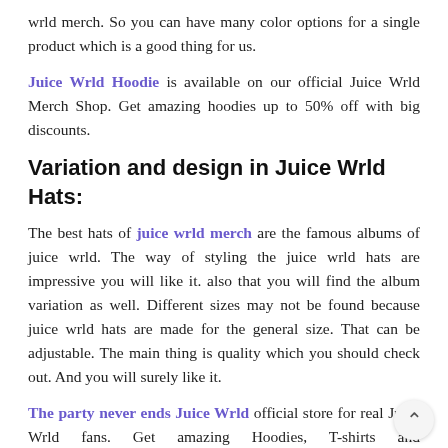wrld merch. So you can have many color options for a single product which is a good thing for us.
Juice Wrld Hoodie is available on our official Juice Wrld Merch Shop. Get amazing hoodies up to 50% off with big discounts.
Variation and design in Juice Wrld Hats:
The best hats of juice wrld merch are the famous albums of juice wrld. The way of styling the juice wrld hats are impressive you will like it. also that you will find the album variation as well. Different sizes may not be found because juice wrld hats are made for the general size. That can be adjustable. The main thing is quality which you should check out. And you will surely like it.
The party never ends Juice Wrld official store for real Juice Wrld fans. Get amazing Hoodies, T-shirts and more. shipping around the world Up to 50% off.